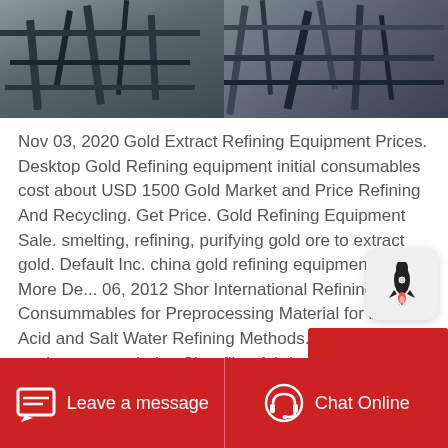[Figure (photo): Industrial/construction equipment photo showing metal beams and scaffolding structures]
Nov 03, 2020 Gold Extract Refining Equipment Prices. Desktop Gold Refining equipment initial consumables cost about USD 1500 Gold Market and Price Refining And Recycling. Get Price. Gold Refining Equipment Sale. smelting, refining, purifying gold ore to extract gold. Default Inc. china gold refining equipment for Get More De... 06, 2012 Shor International Refining. Consummables for Preprocessing Material for both Acid and Salt Water Refining Methods. acids and equipment needed to Shor filter fabrics are plastic based More detailed
[Figure (other): Rocket/launch icon button widget]
Leave a message    Chat Online